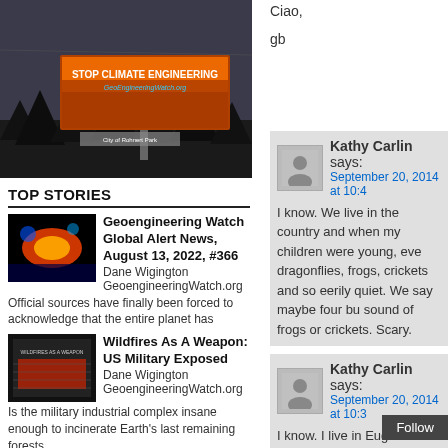[Figure (photo): Billboard reading STOP CLIMATE ENGINEERING GeoEngineeringWatch.org, City of Rohnert Park, with trees in background]
TOP STORIES
[Figure (photo): Geoengineering Watch Global Alert News thumbnail - satellite image]
Geoengineering Watch Global Alert News, August 13, 2022, #366
Dane Wigington GeoengineeringWatch.org
Official sources have finally been forced to acknowledge that the entire planet has
[Figure (photo): Wildfires As A Weapon: US Military Exposed thumbnail]
Wildfires As A Weapon: US Military Exposed
Dane Wigington GeoengineeringWatch.org
Is the military industrial complex insane enough to incinerate Earth's last remaining forests
Ciao,

gb
Kathy Carlin says:
September 20, 2014 at 10:4
I know. We live in the country and when my children were young, eve dragonflies, frogs, crickets and so eerily quiet. We say maybe four bu sound of frogs or crickets. Scary.
Kathy Carlin says:
September 20, 2014 at 10:3
I know. I live in Eugene. They have especially a few days si